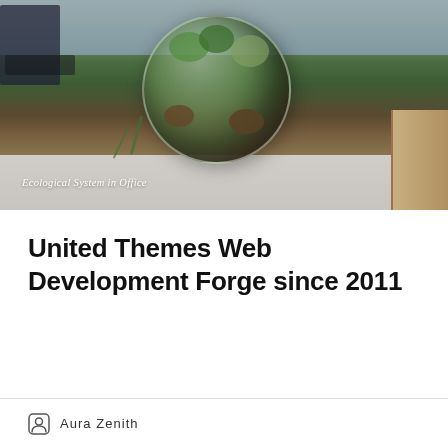[Figure (photo): A glass terrarium sphere containing succulents and green moss plants, sitting on a white desk surface. A monitor and keyboard are partially visible in the background.]
Ecological System in Office
United Themes Web Development Forge since 2011
Aura Zenith